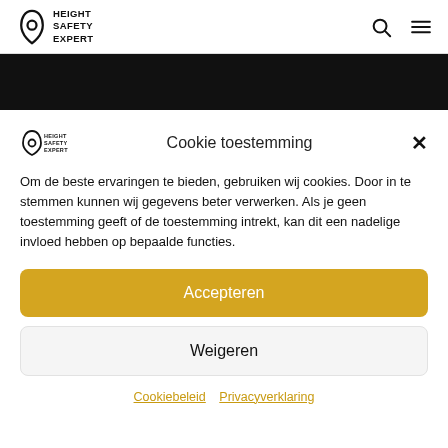HEIGHT SAFETY EXPERT
[Figure (screenshot): Dark banner / hero image area]
Cookie toestemming
Om de beste ervaringen te bieden, gebruiken wij cookies. Door in te stemmen kunnen wij gegevens beter verwerken. Als je geen toestemming geeft of de toestemming intrekt, kan dit een nadelige invloed hebben op bepaalde functies.
Accepteren
Weigeren
Cookiebeleid  Privacyverklaring